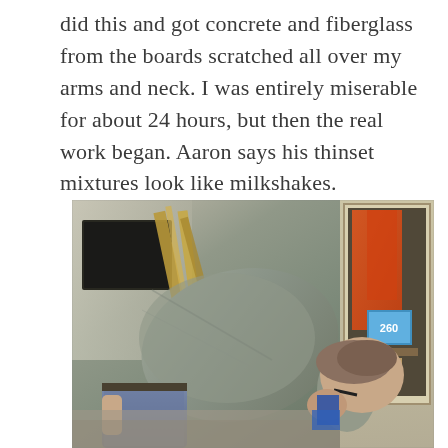did this and got concrete and fiberglass from the boards scratched all over my arms and neck. I was entirely miserable for about 24 hours, but then the real work began. Aaron says his thinset mixtures look like milkshakes.
[Figure (photo): A person wearing a grey t-shirt and jeans bent over at the waist, head down, working on something on the floor. The room in the background shows lumber/boards propped against a wall, an open cabinet or armoire on the right with orange fabric visible, and various construction materials. The scene appears to be a home renovation project.]